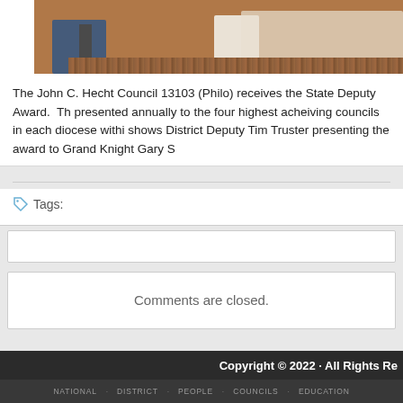[Figure (photo): Cropped photo showing the lower legs and feet of two or more people standing on a wooden floor. Partial view of jeans and white shoes/socks visible.]
The John C. Hecht Council 13103 (Philo) receives the State Deputy Award.  Th presented annually to the four highest acheiving councils in each diocese withi shows District Deputy Tim Truster presenting the award to Grand Knight Gary S
Tags:
Comments are closed.
Copyright © 2022 · All Rights Re